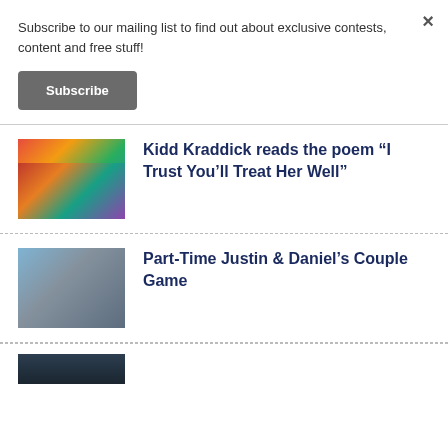Subscribe to our mailing list to find out about exclusive contests, content and free stuff!
Subscribe
Kidd Kraddick reads the poem “I Trust You’ll Treat Her Well”
Part-Time Justin & Daniel’s Couple Game